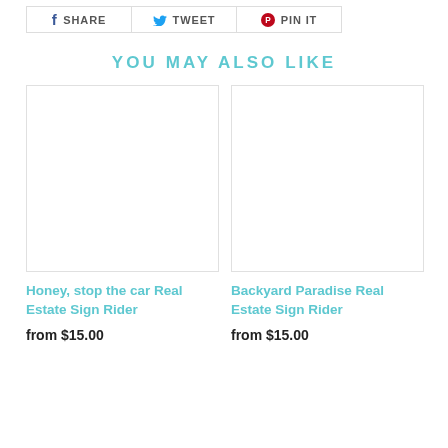[Figure (other): Social share buttons: Facebook SHARE, Twitter TWEET, Pinterest PIN IT]
YOU MAY ALSO LIKE
[Figure (other): Product image placeholder for Honey, stop the car Real Estate Sign Rider]
Honey, stop the car Real Estate Sign Rider
from $15.00
[Figure (other): Product image placeholder for Backyard Paradise Real Estate Sign Rider]
Backyard Paradise Real Estate Sign Rider
from $15.00